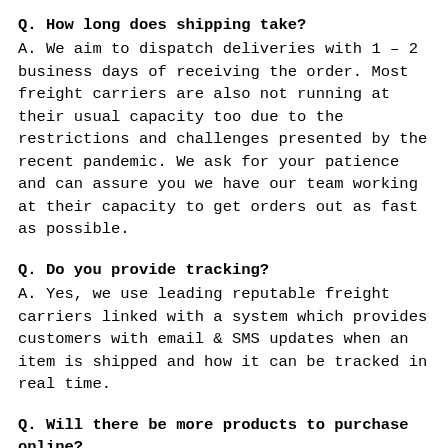Q. How long does shipping take?
A. We aim to dispatch deliveries with 1 – 2 business days of receiving the order. Most freight carriers are also not running at their usual capacity too due to the restrictions and challenges presented by the recent pandemic. We ask for your patience and can assure you we have our team working at their capacity to get orders out as fast as possible.
Q. Do you provide tracking?
A. Yes, we use leading reputable freight carriers linked with a system which provides customers with email & SMS updates when an item is shipped and how it can be tracked in real time.
Q. Will there be more products to purchase online?
A. Yes. Currently our website is in its beta stage. We stock and sell thousands of products across Australia and we intend to have every product available for purchase online.